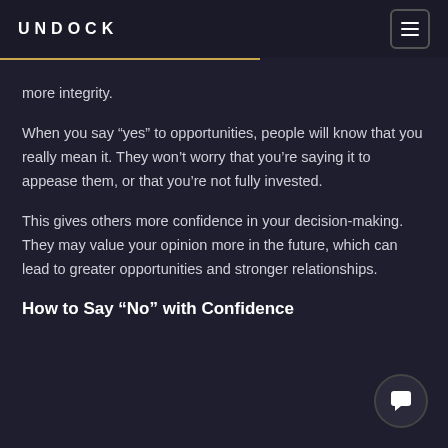UNDOCK
more integrity.
When you say “yes” to opportunities, people will know that you really mean it. They won’t worry that you’re saying it to appease them, or that you’re not fully invested.
This gives others more confidence in your decision-making. They may value your opinion more in the future, which can lead to greater opportunities and stronger relationships.
How to Say “No” with Confidence